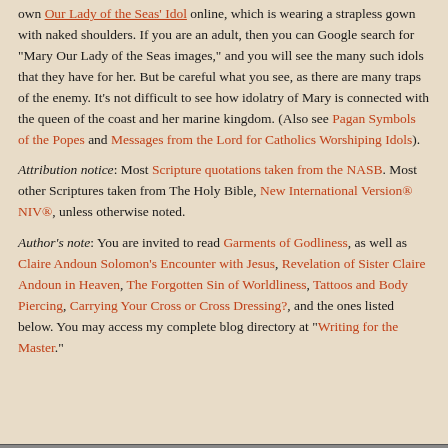own 'Our Lady of the Seas' idol online, which is wearing a strapless gown with naked shoulders. If you are an adult, then you can Google search for "Mary Our Lady of the Seas images," and you will see the many such idols that they have for her. But be careful what you see, as there are many traps of the enemy. It's not difficult to see how idolatry of Mary is connected with the queen of the coast and her marine kingdom. (Also see Pagan Symbols of the Popes and Messages from the Lord for Catholics Worshiping Idols).
Attribution notice: Most Scripture quotations taken from the NASB. Most other Scriptures taken from The Holy Bible, New International Version® NIV®, unless otherwise noted.
Author's note: You are invited to read Garments of Godliness, as well as Claire Andoun Solomon's Encounter with Jesus, Revelation of Sister Claire Andoun in Heaven, The Forgotten Sin of Worldliness, Tattoos and Body Piercing, Carrying Your Cross or Cross Dressing?, and the ones listed below. You may access my complete blog directory at "Writing for the Master."